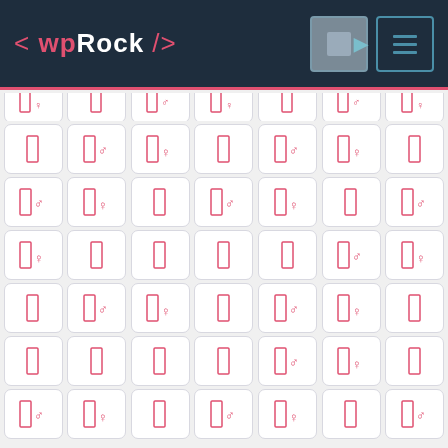< wpRock />
[Figure (screenshot): Grid of icon buttons showing person/gender symbols (male/female indicators) on a light gray background, part of a WordPress plugin or theme interface called wpRock]